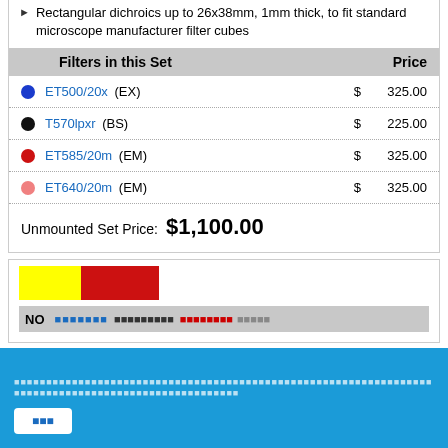Rectangular dichroics up to 26x38mm, 1mm thick, to fit standard microscope manufacturer filter cubes
| Filters in this Set | Price |
| --- | --- |
| ET500/20x (EX) | $ 325.00 |
| T570lpxr (BS) | $ 225.00 |
| ET585/20m (EM) | $ 325.00 |
| ET640/20m (EM) | $ 325.00 |
Unmounted Set Price: $1,100.00
[Figure (other): Color swatches (yellow and red rectangles) and a partial table header row with filter set product codes and prices, partially cut off at bottom]
Footer bar with placeholder text and button